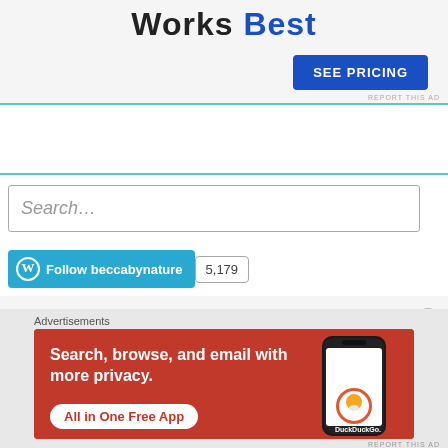Works Best
[Figure (screenshot): Blue 'SEE PRICING' button on white background]
REPORT THIS AD
Search...
[Figure (screenshot): WordPress Follow beccabynature button with count badge 5,179]
Advertisements
[Figure (screenshot): DuckDuckGo advertisement banner: Search, browse, and email with more privacy. All in One Free App]